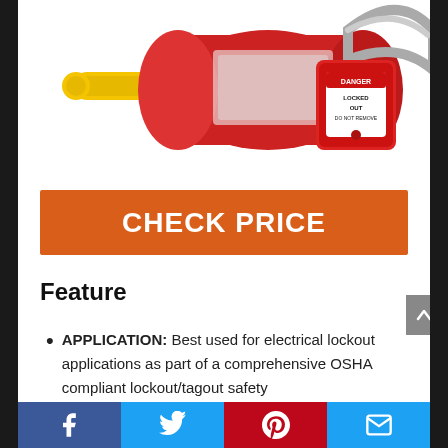[Figure (photo): Product photo showing a red electrical lockout device (cylinder-shaped) with a yellow handle/plug on the left, and a red padlock with a 'DANGER LOCKED OUT DO NOT REMOVE' label hanging from it on the right, against a white background.]
CHECK PRICE
Feature
APPLICATION: Best used for electrical lockout applications as part of a comprehensive OSHA compliant lockout/tagout safety